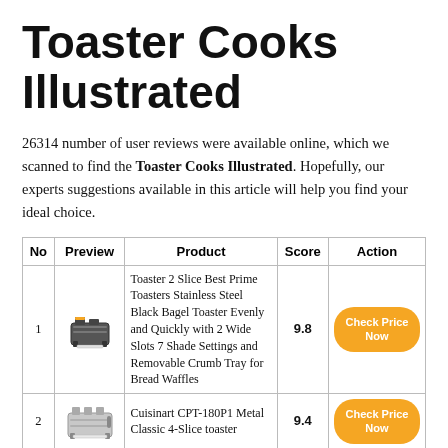Toaster Cooks Illustrated
26314 number of user reviews were available online, which we scanned to find the Toaster Cooks Illustrated. Hopefully, our experts suggestions available in this article will help you find your ideal choice.
| No | Preview | Product | Score | Action |
| --- | --- | --- | --- | --- |
| 1 | [toaster image] | Toaster 2 Slice Best Prime Toasters Stainless Steel Black Bagel Toaster Evenly and Quickly with 2 Wide Slots 7 Shade Settings and Removable Crumb Tray for Bread Waffles | 9.8 | Check Price Now |
| 2 | [toaster image] | Cuisinart CPT-180P1 Metal Classic 4-Slice toaster | 9.4 | Check Price Now |